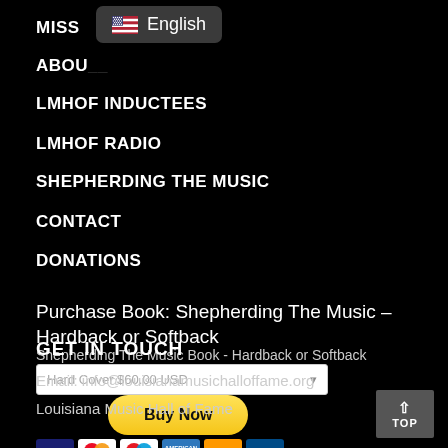[Figure (other): Language selector badge showing US flag and 'English' label on dark background]
MISS...
ABOUT US
LMHOF INDUCTEES
LMHOF RADIO
SHEPHERDING THE MUSIC
CONTACT
DONATIONS
Purchase Book: Shepherding The Music – Hardback or Softback
Shepherding The Music Book - Hardback or Softback
Hard Cover $60.00 USD
[Figure (other): Buy Now PayPal button with credit card icons (Visa, Mastercard, Maestro, Amex, Discover)]
GET IN TOUCH
Email: info@louisianamusichalloffame.org
Louisiana Music Hall of Fame